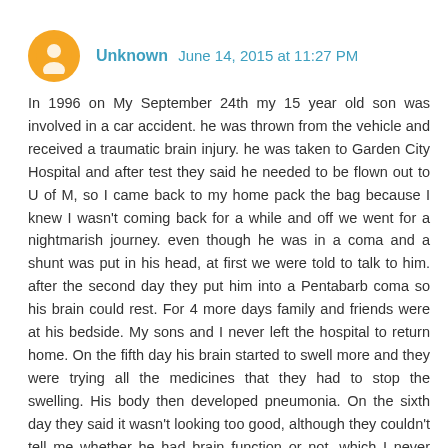Unknown June 14, 2015 at 11:27 PM
In 1996 on My September 24th my 15 year old son was involved in a car accident. he was thrown from the vehicle and received a traumatic brain injury. he was taken to Garden City Hospital and after test they said he needed to be flown out to U of M, so I came back to my home pack the bag because I knew I wasn't coming back for a while and off we went for a nightmarish journey. even though he was in a coma and a shunt was put in his head, at first we were told to talk to him. after the second day they put him into a Pentabarb coma so his brain could rest. For 4 more days family and friends were at his bedside. My sons and I never left the hospital to return home. On the fifth day his brain started to swell more and they were trying all the medicines that they had to stop the swelling. His body then developed pneumonia. On the sixth day they said it wasn't looking too good, although they couldn't tell me whether he had brain function or not, which I never really got an answer to. On the 7th day his intercranial pressure was fatally high. I always wondered why they couldn't remove